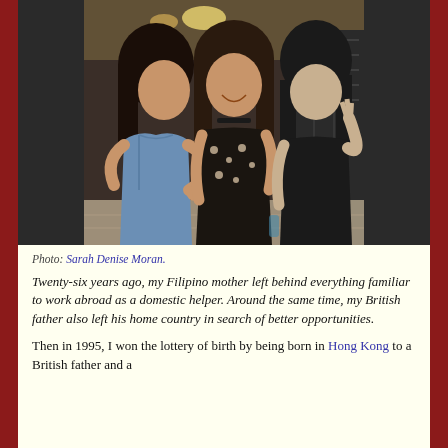[Figure (photo): Three young women posing together in what appears to be a store or restaurant interior. The woman on the left wears a blue denim jacket, the woman in the middle wears a black floral dress with a choker necklace, and the woman on the right is in all black making a peace sign.]
Photo: Sarah Denise Moran.
Twenty-six years ago, my Filipino mother left behind everything familiar to work abroad as a domestic helper. Around the same time, my British father also left his home country in search of better opportunities.
Then in 1995, I won the lottery of birth by being born in Hong Kong to a British father and a